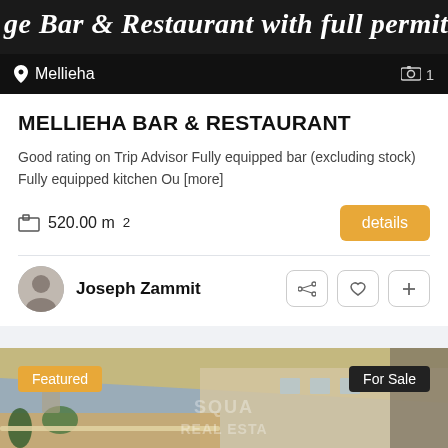ge Bar & Restaurant with full permits in Melli
Mellieha
MELLIEHA BAR & RESTAURANT
Good rating on Trip Advisor Fully equipped bar (excluding stock) Fully equipped kitchen Ou [more]
520.00 m²
details
Joseph Zammit
[Figure (photo): Outdoor terrace/balcony of a bar and restaurant in Mellieha, Malta, with an awning, garden furniture, potted plants, and a stone building in the background. Features 'Featured' and 'For Sale' badges and a SQUARE REAL ESTATE watermark.]